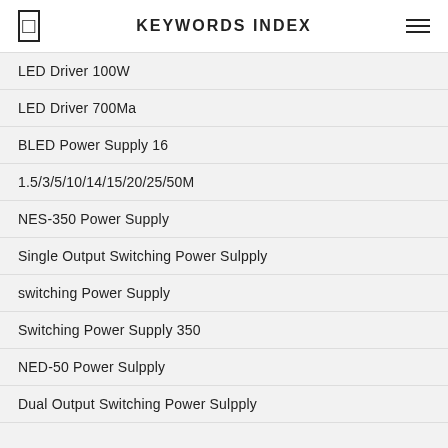KEYWORDS INDEX
LED Driver 100W
LED Driver 700Ma
BLED Power Supply 16
1.5/3/5/10/14/15/20/25/50M
NES-350 Power Supply
Single Output Switching Power Sulpply
switching Power Supply
Switching Power Supply 350
NED-50 Power Sulpply
Dual Output Switching Power Sulpply